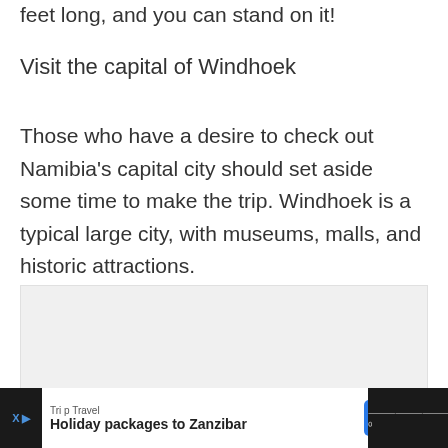feet long, and you can stand on it!
Visit the capital of Windhoek
Those who have a desire to check out Namibia's capital city should set aside some time to make the trip. Windhoek is a typical large city, with museums, malls, and historic attractions.
[Figure (other): Light grey rectangular advertisement placeholder box]
Trip Travel — Holiday packages to Zanzibar — OPEN